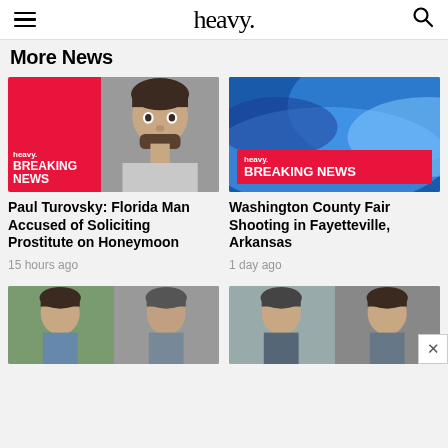heavy.
More News
[Figure (photo): Heavy Breaking News thumbnail with mugshot of Paul Turovsky]
Paul Turovsky: Florida Man Accused of Soliciting Prostitute on Honeymoon
15 hours ago
[Figure (photo): Heavy Breaking News blue banner thumbnail]
Washington County Fair Shooting in Fayetteville, Arkansas
1 day ago
[Figure (photo): Two partial thumbnail images at bottom left]
[Figure (photo): Two partial thumbnail images at bottom right with close button X]